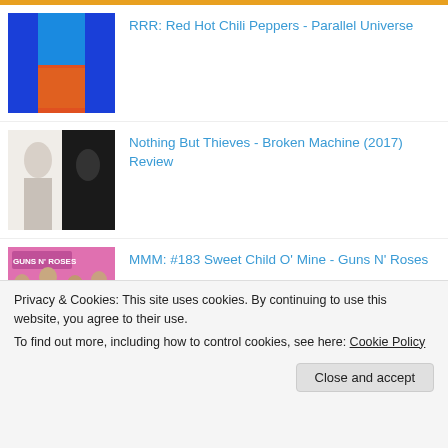RRR: Red Hot Chili Peppers - Parallel Universe
Nothing But Thieves - Broken Machine (2017) Review
MMM: #183 Sweet Child O' Mine - Guns N' Roses
Privacy & Cookies: This site uses cookies. By continuing to use this website, you agree to their use.
To find out more, including how to control cookies, see here: Cookie Policy
MMM: Who Am I (What's My Name)? - Snoop Doggy